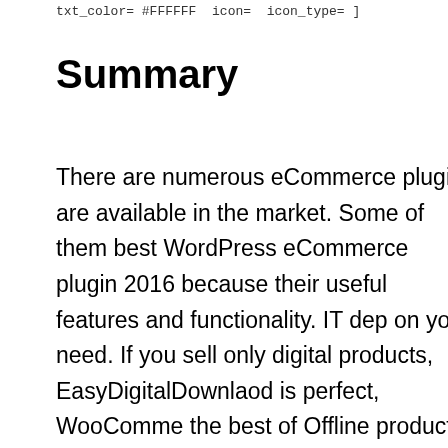txt_color= #FFFFFF  icon=  icon_type= ]
Summary
There are numerous eCommerce plugins are available in the market. Some of them best WordPress eCommerce plugin 2016 because their useful features and functionality. IT dep on your need. If you sell only digital products, EasyDigitalDownlaod is perfect, WooComme the best of Offline products, Cart66 is aweso for hosted checkout system. If you think ther are some other useful eCommerce plugins, t is helpful for PickPlugins community. Share y